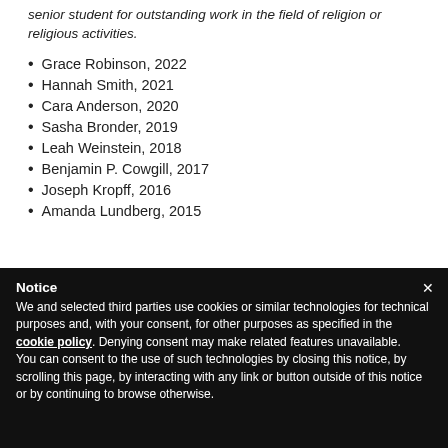senior student for outstanding work in the field of religion or religious activities.
Grace Robinson, 2022
Hannah Smith, 2021
Cara Anderson, 2020
Sasha Bronder, 2019
Leah Weinstein, 2018
Benjamin P. Cowgill, 2017
Joseph Kropff, 2016
Amanda Lundberg, 2015
Notice
We and selected third parties use cookies or similar technologies for technical purposes and, with your consent, for other purposes as specified in the cookie policy. Denying consent may make related features unavailable.
You can consent to the use of such technologies by closing this notice, by scrolling this page, by interacting with any link or button outside of this notice or by continuing to browse otherwise.